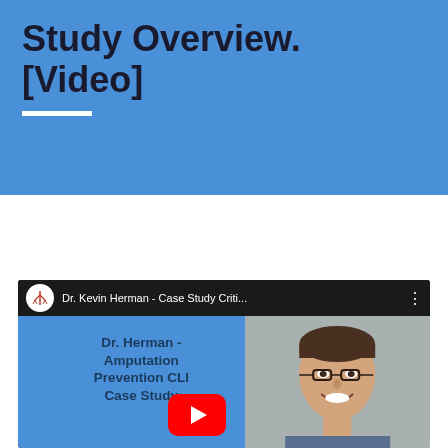Study Overview. [Video]
[Figure (screenshot): YouTube video thumbnail showing 'Dr. Kevin Herman - Case Study Criti...' with channel logo, video title bar, and a split thumbnail: left side shows blue background with text 'Dr. Herman - Amputation Prevention CLI Case Study', right side shows a smiling man with glasses. A red YouTube play button is overlaid in the center.]